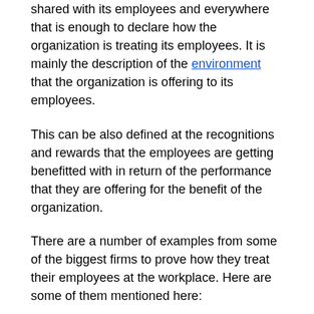shared with its employees and everywhere that is enough to declare how the organization is treating its employees. It is mainly the description of the environment that the organization is offering to its employees.
This can be also defined at the recognitions and rewards that the employees are getting benefitted with in return of the performance that they are offering for the benefit of the organization.
There are a number of examples from some of the biggest firms to prove how they treat their employees at the workplace. Here are some of them mentioned here:
Google comes up with the quote: “Do cool things that matter”.